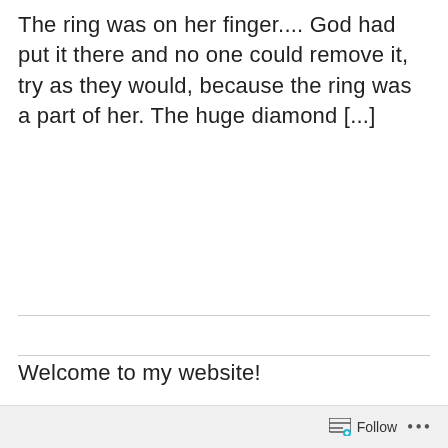The ring was on her finger.... God had put it there and no one could remove it, try as they would, because the ring was a part of her. The huge diamond [...]
Welcome to my website!
[Figure (photo): Oval portrait photo of a smiling middle-aged woman with short blonde hair and glasses, framed by a cyan/teal circular border, cropped at the bottom of the page.]
Follow ...